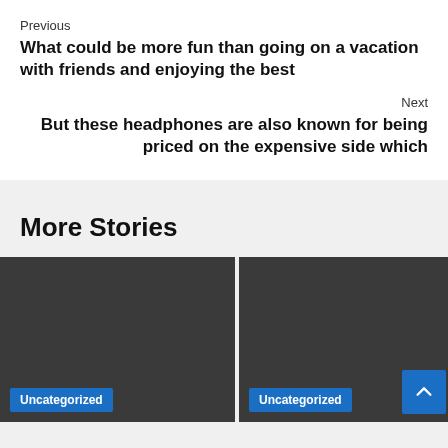Previous
What could be more fun than going on a vacation with friends and enjoying the best
Next
But these headphones are also known for being priced on the expensive side which
More Stories
[Figure (photo): Dark placeholder image card with Uncategorized badge]
[Figure (photo): Dark placeholder image card with Uncategorized badge and back-to-top button]